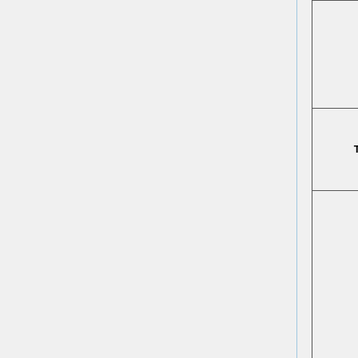|  |  | Description |
| --- | --- | --- |
|  |  | the processing number. |
| Tools | Effects and Filters | Select this option to adjust the audio and video effects. |
|  | Track Synchronization | Select this option to display a menu of options to have audio and video effects, and synchronization of the audio and video media. |
|  |  | Select this option to view |